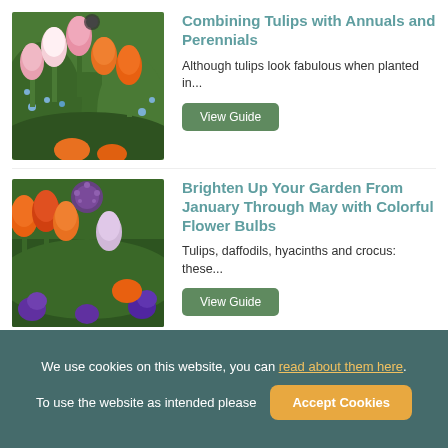Combining Tulips with Annuals and Perennials
[Figure (photo): Garden photo showing pink, white and orange tulips with blue flowers and lush green foliage]
Although tulips look fabulous when planted in...
View Guide
Brighten Up Your Garden From January Through May with Colorful Flower Bulbs
[Figure (photo): Colorful garden photo with orange and red tulips, purple alliums, and purple flowers]
Tulips, daffodils, hyacinths and crocus: these...
View Guide
We use cookies on this website, you can read about them here. To use the website as intended please
Accept Cookies